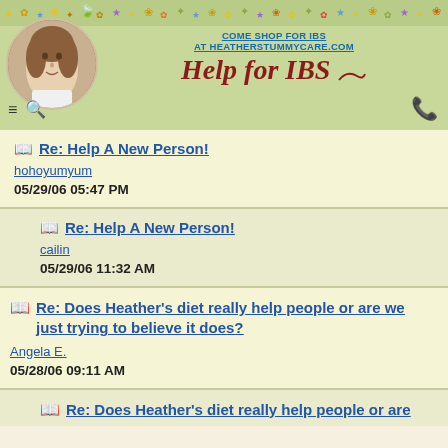COME SHOP FOR IBS AT HEATHERSTUMMYCARE.COM
Help for IBS
📖 Re: Help A New Person!
hohoyumyum
05/29/06 05:47 PM
📖 Re: Help A New Person!
cailin
05/29/06 11:32 AM
📖 Re: Does Heather's diet really help people or are we just trying to believe it does?
Angela E.
05/28/06 09:11 AM
📖 Re: Does Heather's diet really help people or are